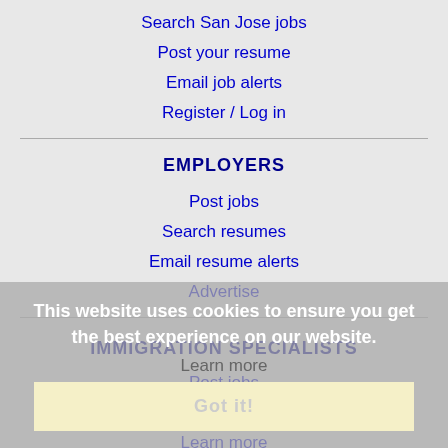Search San Jose jobs
Post your resume
Email job alerts
Register / Log in
EMPLOYERS
Post jobs
Search resumes
Email resume alerts
Advertise
IMMIGRATION SPECIALISTS
Post jobs
Immigration FAQs
Learn more
This website uses cookies to ensure you get the best experience on our website. Learn more Got it!